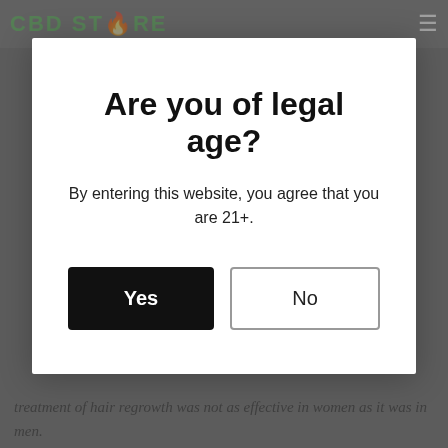CBD STORE
Are you of legal age?
By entering this website, you agree that you are 21+.
Yes
No
treatment of hair regrowth was not as effective in women as it was in men.